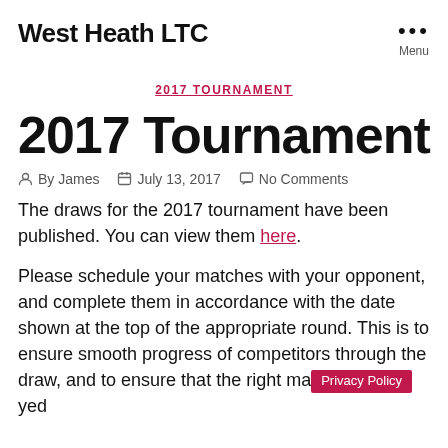West Heath LTC
2017 TOURNAMENT
2017 Tournament
By James  July 13, 2017  No Comments
The draws for the 2017 tournament have been published. You can view them here.
Please schedule your matches with your opponent, and complete them in accordance with the date shown at the top of the appropriate round. This is to ensure smooth progress of competitors through the draw, and to ensure that the right ma[tches are pla]yed